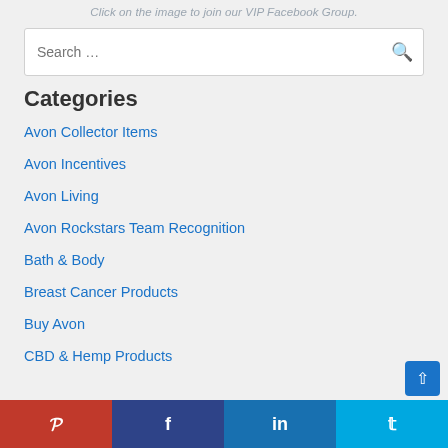Click on the image to join our VIP Facebook Group.
Search …
Categories
Avon Collector Items
Avon Incentives
Avon Living
Avon Rockstars Team Recognition
Bath & Body
Breast Cancer Products
Buy Avon
CBD & Hemp Products
Pinterest | Facebook | LinkedIn | Twitter